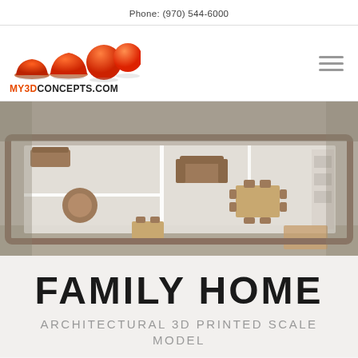Phone: (970) 544-6000
[Figure (logo): My3DConcepts.com logo with three orange 3D spheres/bowls and the text MY3DCONCEPTS.COM]
[Figure (photo): Overhead view of a 3D printed architectural scale model of a family home showing furniture arrangements including sofas, chairs, dining table and shelving units in white structure with tan/brown miniature furniture]
FAMILY HOME
ARCHITECTURAL 3D PRINTED SCALE MODEL